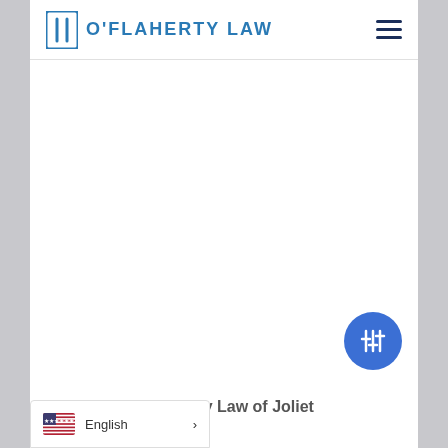O'Flaherty Law
[Figure (logo): O'Flaherty Law logo with blue bracket icon and text 'O'Flaherty Law' in blue uppercase letters]
[Figure (infographic): Blue circular button with equalizer/mixer icon (three vertical sliders with crossbars) in white]
O'Flaherty Law of Joliet
English